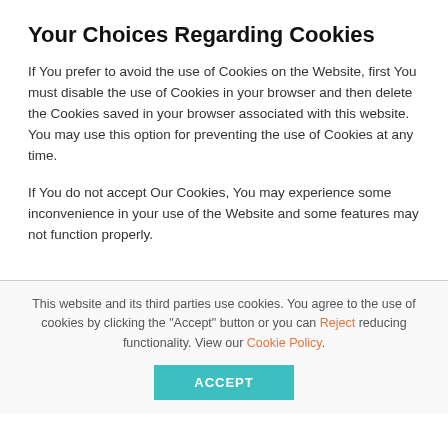Your Choices Regarding Cookies
If You prefer to avoid the use of Cookies on the Website, first You must disable the use of Cookies in your browser and then delete the Cookies saved in your browser associated with this website. You may use this option for preventing the use of Cookies at any time.
If You do not accept Our Cookies, You may experience some inconvenience in your use of the Website and some features may not function properly.
This website and its third parties use cookies. You agree to the use of cookies by clicking the "Accept" button or you can Reject reducing functionality. View our Cookie Policy.
ACCEPT